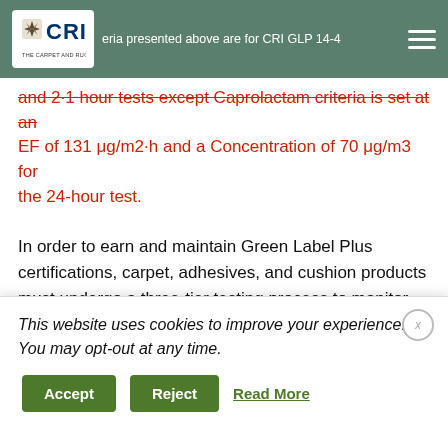CRI - The Carpet and Rug Institute | criteria presented above are for CRI GLP 14-4...
and 2·1 hour tests except Caprolactam criteria is set at an EF of 131 μg/m2·h and a Concentration of 70 μg/m3 for the 24-hour test.
In order to earn and maintain Green Label Plus certifications, carpet, adhesives, and cushion products must undergo a three-tier testing process to monitor continued compliance with the test program requirements.
GLP Emissions Criteria [PDF icon] (41 KB)
GLP test results are confidential and not to be shared with
This website uses cookies to improve your experience. You may opt-out at any time.